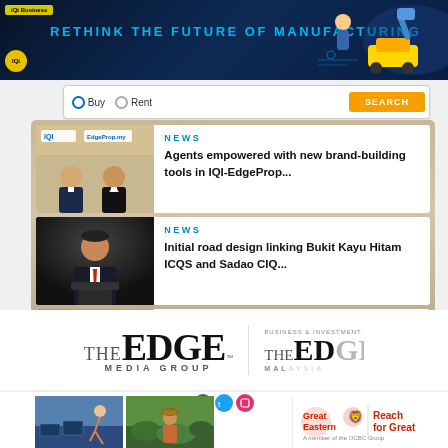[Figure (infographic): Banner advertisement: dark navy blue background with text 'RETHINK THE FUTURE OF MANUFACTURING' in cyan/blue letters, yellow ad label top-left, robot/manufacturing imagery on the right]
[Figure (screenshot): Property search bar with Buy/Rent radio options and an orange Search button]
[Figure (photo): News card with IQI and EdgeProp logos, two men in suits]
NEWS
Agents empowered with new brand-building tools in IQI-EdgeProp...
[Figure (photo): News card photo of a man in suit speaking at a podium]
NEWS
Initial road design linking Bukit Kayu Hitam ICQS and Sadao CIQ...
NEWS
[Figure (logo): The Edge Media Group logo]
[Figure (logo): The Edge Malaysia Business & Investment News logo (partially visible)]
[Figure (infographic): Bottom section showing social media icons, two photos (person jumping, person in garden), and Great Eastern 'Reach for Great' advertisement]